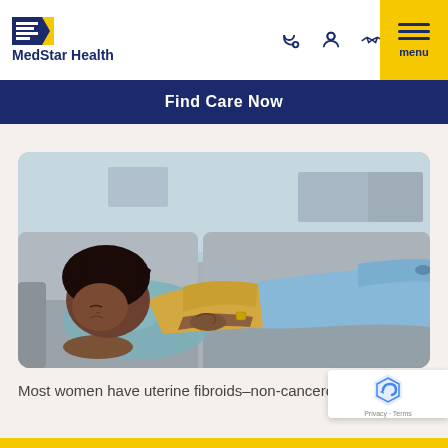MedStar Health
Find Care Now
[Figure (photo): A woman lying on a grey couch holding her abdomen, appearing to be in pain. She is wearing a yellow top and blue jeans with a watch on her wrist.]
Most women have uterine fibroids–non-cancero